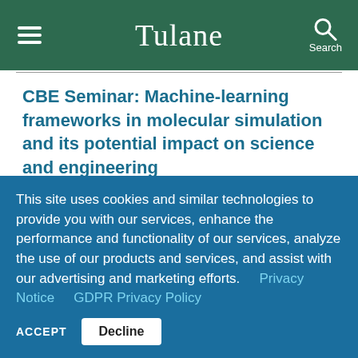Tulane
CBE Seminar: Machine-learning frameworks in molecular simulation and its potential impact on science and engineering
2:00 pm to 3:00 pm
This site uses cookies and similar technologies to provide you with our services, enhance the performance and functionality of our services, analyze the use of our products and services, and assist with our advertising and marketing efforts.  Privacy Notice   GDPR Privacy Policy
ACCEPT  Decline